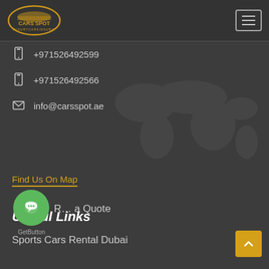[Figure (logo): Cars Spot luxury car rental logo with golden car silhouette and text]
[Figure (other): Hamburger menu button (three horizontal lines) with rectangular border]
+971526492599
+971526492566
info@carsspot.ae
Find Us On Map
Useful Links
Request a Quote
GetButton
Sports Cars Rental Dubai